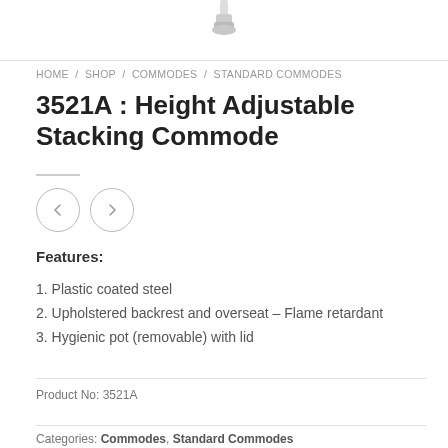[Figure (photo): Partial view of a commode product image at top of page, showing the lower portion of the item against white background]
HOME / SHOP / COMMODES / STANDARD COMMODES
3521A : Height Adjustable Stacking Commode
Features:
1. Plastic coated steel
2. Upholstered backrest and overseat – Flame retardant
3. Hygienic pot (removable) with lid
Product No: 3521A
Categories: Commodes, Standard Commodes